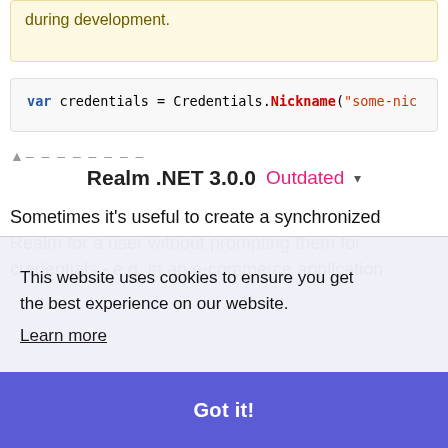during development.
[Figure (screenshot): Code snippet showing: var credentials = Credentials.Nickname("some-nic...]
Realm .NET 3.0.0  Outdated ▾
Sometimes it's useful to create a synchronized Realm for a user without prompting them for credentials - e.g. in an e-commerce application
This website uses cookies to ensure you get the best experience on our website.
Learn more
Got it!